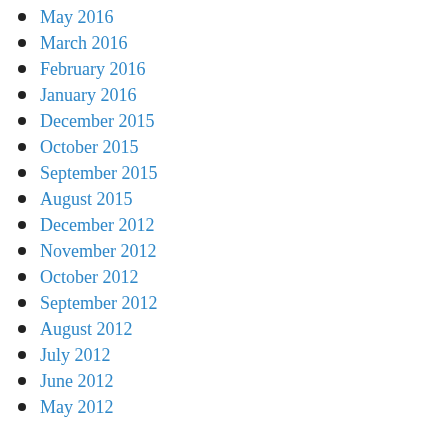May 2016
March 2016
February 2016
January 2016
December 2015
October 2015
September 2015
August 2015
December 2012
November 2012
October 2012
September 2012
August 2012
July 2012
June 2012
May 2012